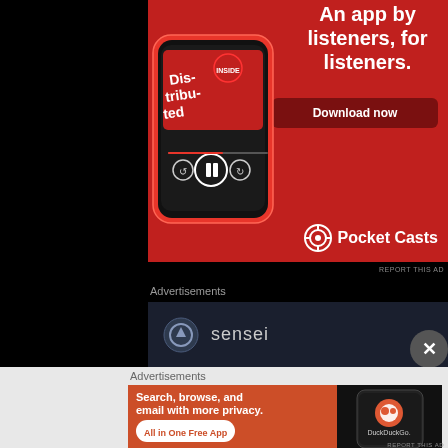[Figure (screenshot): Pocket Casts app advertisement on red background showing a smartphone with 'Distributed' podcast episode, tagline 'An app by listeners, for listeners.', Download now button, and Pocket Casts logo]
REPORT THIS AD
Advertisements
[Figure (screenshot): Partial view of Sensei advertisement with dark navy background showing Sensei logo icon and brand name]
[Figure (screenshot): Close/dismiss button (X) overlay]
Advertisements
[Figure (screenshot): DuckDuckGo advertisement on orange-brown background with white text 'Search, browse, and email with more privacy.' and 'All in One Free App' button, with smartphone showing DuckDuckGo app on dark right panel]